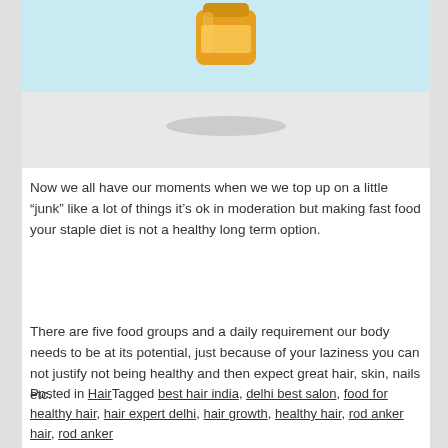[Figure (photo): Partial image of a honey jar on a light blue and grey background with an oval shadow beneath it]
Now we all have our moments when we we top up on a little “junk” like a lot of things it’s ok in moderation but making fast food your staple diet is not a healthy long term option.
There are five food groups and a daily requirement our body needs to be at its potential, just because of your laziness you can not justify not being healthy and then expect great hair, skin, nails etc.
Posted in HairTagged best hair india, delhi best salon, food for healthy hair, hair expert delhi, hair growth, healthy hair, rod anker hair, rod anker